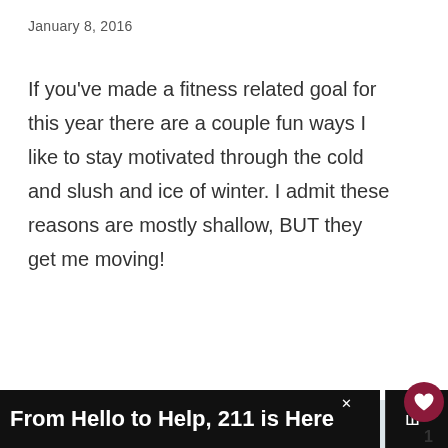January 8, 2016
If you've made a fitness related goal for this year there are a couple fun ways I like to stay motivated through the cold and slush and ice of winter. I admit these reasons are mostly shallow, BUT they get me moving!
[Figure (other): Partial image with watermark 'katemovingforward.com' visible at top, light blue-gray background image area]
From Hello to Help, 211 is Here